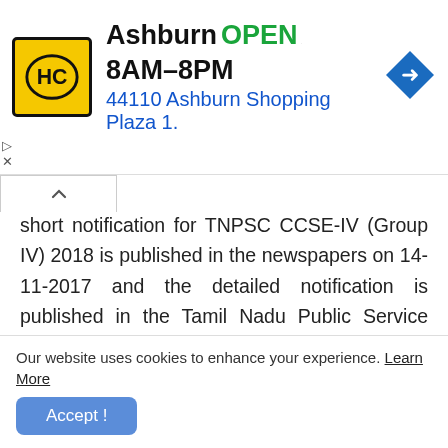[Figure (other): Ad banner for HC store in Ashburn showing logo, OPEN status, hours 8AM-8PM, address 44110 Ashburn Shopping Plaza 1., and a blue direction arrow icon]
short notification for TNPSC CCSE-IV (Group IV) 2018 is published in the newspapers on 14-11-2017 and the detailed notification is published in the Tamil Nadu Public Service Commission's Official Website www.tnpsc.gov.in/latest-notification.html.
TNPSC Group 4 2018 Important Dates
Our website uses cookies to enhance your experience. Learn More
Accept !